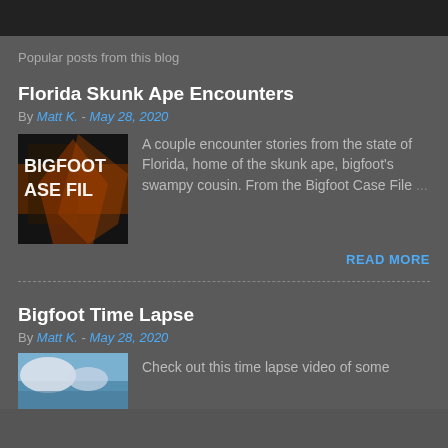Popular posts from this blog
Florida Skunk Ape Encounters
By Matt K. - May 28, 2020
[Figure (photo): Bigfoot Case Files book cover with fiery background]
A couple encounter stories from the state of Florida, home of the skunk ape, bigfoot's swampy cousin. From the Bigfoot Case File ...
READ MORE
Bigfoot Time Lapse
By Matt K. - May 28, 2020
[Figure (photo): Thumbnail image for Bigfoot Time Lapse post]
Check out this time lapse video of some